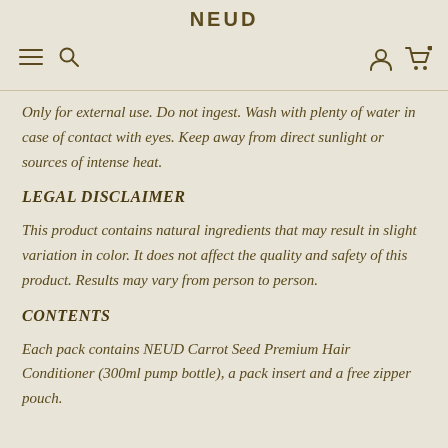NEUD
Only for external use. Do not ingest. Wash with plenty of water in case of contact with eyes. Keep away from direct sunlight or sources of intense heat.
LEGAL DISCLAIMER
This product contains natural ingredients that may result in slight variation in color. It does not affect the quality and safety of this product. Results may vary from person to person.
CONTENTS
Each pack contains NEUD Carrot Seed Premium Hair Conditioner (300ml pump bottle), a pack insert and a free zipper pouch.